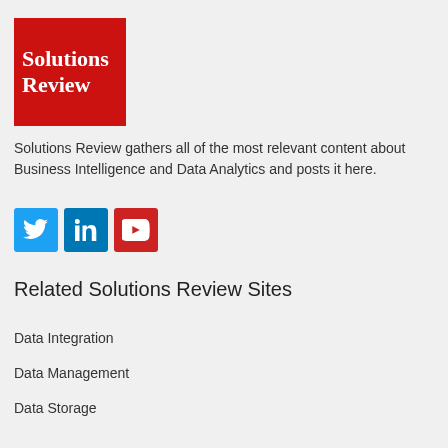[Figure (logo): Solutions Review logo - red background with white serif text reading 'Solutions Review']
Solutions Review gathers all of the most relevant content about Business Intelligence and Data Analytics and posts it here.
[Figure (infographic): Social media icons: Twitter (blue bird), LinkedIn (blue), YouTube (red)]
Related Solutions Review Sites
Data Integration
Data Management
Data Storage